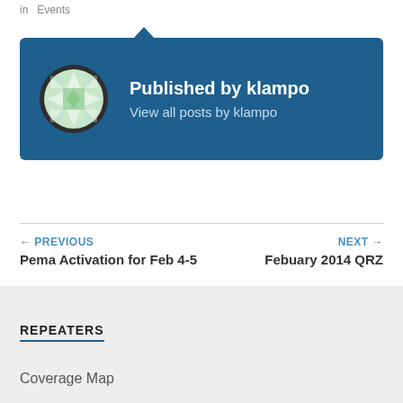in  Events
[Figure (infographic): Author card with avatar and published by klampo info on blue background]
← PREVIOUS
Pema Activation for Feb 4-5
NEXT →
Febuary 2014 QRZ
REPEATERS
Coverage Map